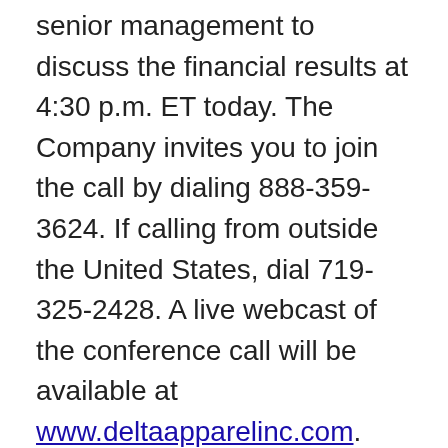senior management to discuss the financial results at 4:30 p.m. ET today. The Company invites you to join the call by dialing 888-359-3624. If calling from outside the United States, dial 719-325-2428. A live webcast of the conference call will be available at www.deltaapparelinc.com. Please visit the website at least 15 minutes early to register for the teleconference webcast and download any necessary software. A replay of the call will be available through June 5, 2015. To access the telephone replay, participants should dial toll-free 877-870-5176. International callers can dial 858-384-5517. The pass code for the replay is...